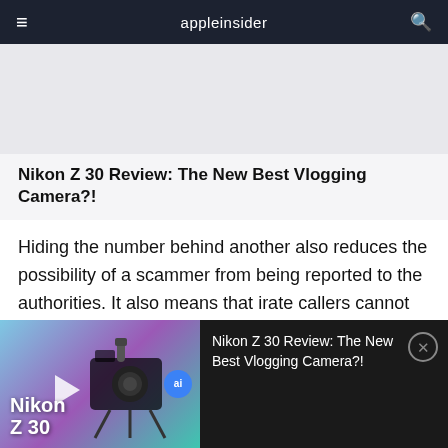appleinsider
[Figure (other): Advertisement or article image placeholder (light gray area)]
Nikon Z 30 Review: The New Best Vlogging Camera?!
Hiding the number behind another also reduces the possibility of a scammer from being reported to the authorities. It also means that irate callers cannot phone the scammer or telemarketer back to complain.
[Figure (screenshot): Video card overlay showing Nikon Z 30 camera thumbnail on gradient background with 'Nikon Z 30' text, AI badge, play button, and title 'Nikon Z 30 Review: The New Best Vlogging Camera?!' on dark background with close button]